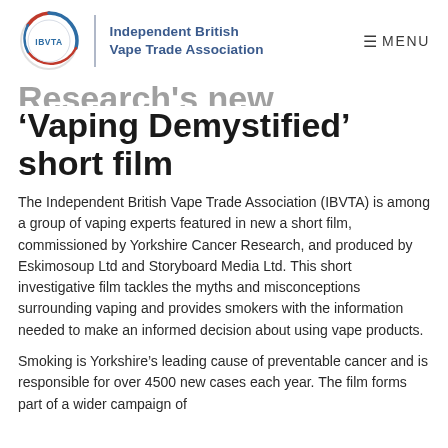[Figure (logo): IBVTA circular logo with text 'Independent British Vape Trade Association']
Research's new 'Vaping Demystified' short film
The Independent British Vape Trade Association (IBVTA) is among a group of vaping experts featured in new a short film, commissioned by Yorkshire Cancer Research, and produced by Eskimosoup Ltd and Storyboard Media Ltd. This short investigative film tackles the myths and misconceptions surrounding vaping and provides smokers with the information needed to make an informed decision about using vape products.
Smoking is Yorkshire's leading cause of preventable cancer and is responsible for over 4500 new cases each year. The film forms part of a wider campaign of